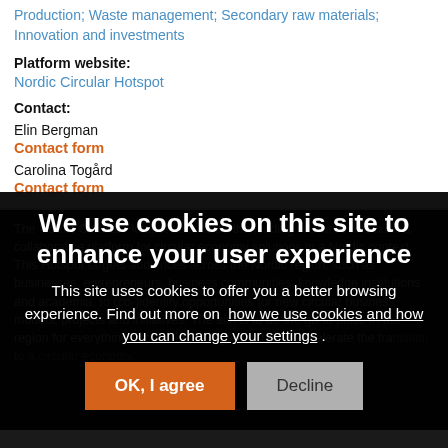Production; Waste management; Secondary raw materials; Innovation and investments
Platform website:
Nordic Circular Hotspot
Contact:
Elin Bergman
Contact form
Carolina Togård
Contact form
The Nordic Circular Hotspot aims to be the leading resource and collaboration platform for circular economy solutions in a Nordic context.
This Hotspot targets audiences across the Nordic region, such as businesses, entrepreneurs, business communities, knowledge institutions and academia, to (co-)identify opportunities for new circular business models, projects and initiatives. The aim is to be the go-to place in the region for everything circular in the region to faster accelerate the transition to a circular economy.
We use cookies on this site to enhance your user experience
This site uses cookies to offer you a better browsing experience. Find out more on how we use cookies and how you can change your settings .
OK, I agree
Decline